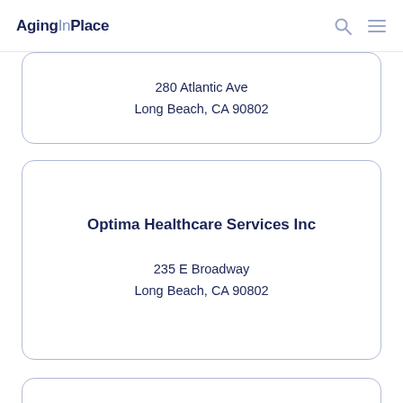AgingInPlace
280 Atlantic Ave
Long Beach, CA 90802
Optima Healthcare Services Inc
235 E Broadway
Long Beach, CA 90802
Total Care Home Health